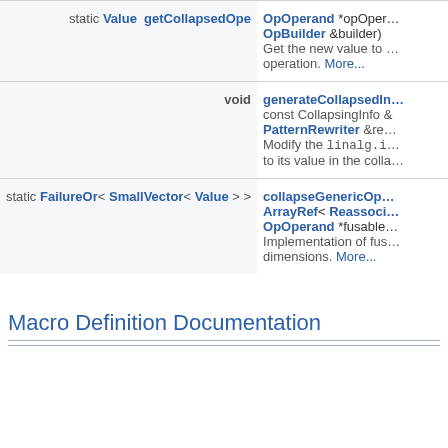| Return Type | Function/Description |
| --- | --- |
| static Value  getCollapsedOp...
OpOperand *opOper...
OpBuilder &builder) | Get the new value to ... operation. More... |
| void | generateCollapsedIn...
const CollapsingInfo &...
PatternRewriter &rew...
Modify the linalg.i... to its value in the colla... |
| static FailureOr< SmallVector< Value > > | collapseGenericOp...
ArrayRef< Reassoci...
OpOperand *fusable...
Implementation of fus... dimensions. More... |
Macro Definition Documentation